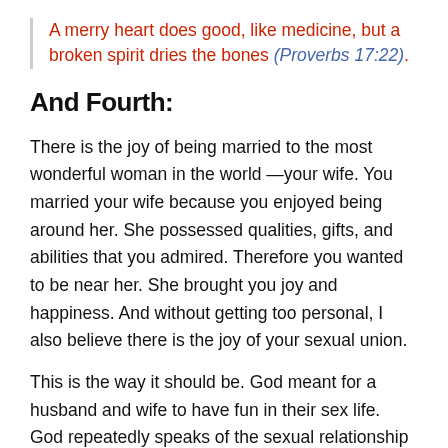A merry heart does good, like medicine, but a broken spirit dries the bones (Proverbs 17:22).
And Fourth:
There is the joy of being married to the most wonderful woman in the world —your wife. You married your wife because you enjoyed being around her. She possessed qualities, gifts, and abilities that you admired. Therefore you wanted to be near her. She brought you joy and happiness. And without getting too personal, I also believe there is the joy of your sexual union.
This is the way it should be. God meant for a husband and wife to have fun in their sex life. God repeatedly speaks of the sexual relationship between a husband